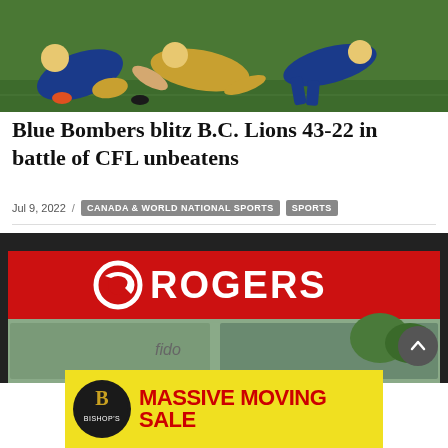[Figure (photo): Football players diving/tackling on green field during CFL game, blue and gold uniforms visible]
Blue Bombers blitz B.C. Lions 43-22 in battle of CFL unbeatens
Jul 9, 2022 / CANADA & WORLD NATIONAL SPORTS | SPORTS
[Figure (photo): Rogers store exterior with large red Rogers sign and white logo, Fido signage visible in background]
[Figure (illustration): Bishop's Outdoor Living Massive Moving Sale advertisement banner with yellow background and red text]